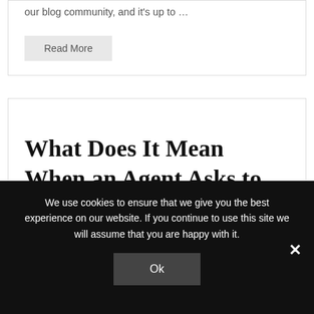our blog community, and it's up to ...
Read More
What Does It Mean When an Agent Asks to Represent Me?
We use cookies to ensure that we give you the best experience on our website. If you continue to use this site we will assume that you are happy with it.
Ok